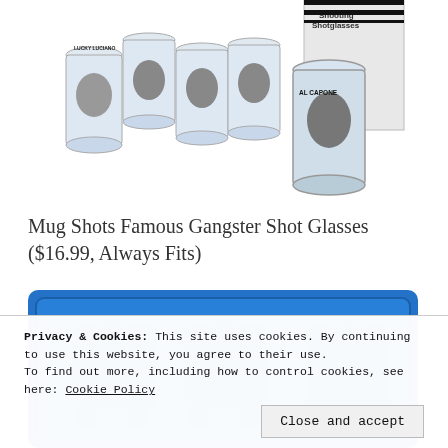[Figure (photo): Photo of Mug Shots Famous Gangster Shot Glasses set, showing several shot glasses with black-and-white gangster portraits printed on them, including Al Capone. Box visible in background with 'Shooting Shotglasses' text.]
Mug Shots Famous Gangster Shot Glasses ($16.99, Always Fits)
[Figure (photo): Blue silicone ice tray mold shaped like R2-D2 from Star Wars, showing three R2-D2 shaped cavities.]
Privacy & Cookies: This site uses cookies. By continuing to use this website, you agree to their use.
To find out more, including how to control cookies, see here: Cookie Policy
Close and accept